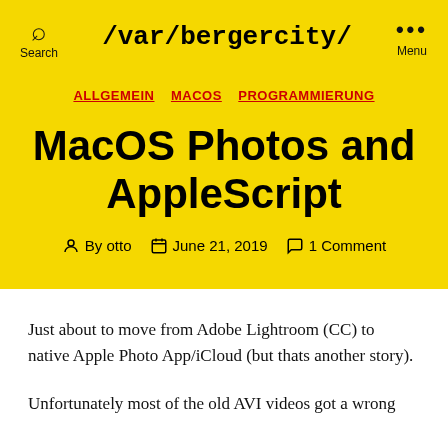/var/bergercity/
ALLGEMEIN  MACOS  PROGRAMMIERUNG
MacOS Photos and AppleScript
By otto   June 21, 2019   1 Comment
Just about to move from Adobe Lightroom (CC) to native Apple Photo App/iCloud (but thats another story).
Unfortunately most of the old AVI videos got a wrong